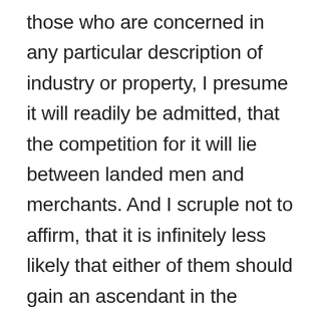those who are concerned in any particular description of industry or property, I presume it will readily be admitted, that the competition for it will lie between landed men and merchants. And I scruple not to affirm, that it is infinitely less likely that either of them should gain an ascendant in the national councils, than that the one or the other of them should predominate in all the local councils. The inference will be, that a conduct tending to give an undue